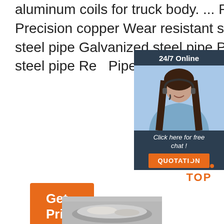aluminum coils for truck body. ... Precision aluminum Precision copper Wear resistant steel plate Seamless steel pipe Galvanized steel pipe Precision steel tube Alloy steel pipe Red Pipe Stainless Steel pipe.
[Figure (other): Customer service chat widget with '24/7 Online' header, photo of a smiling woman with a headset, 'Click here for free chat!' text, and an orange QUOTATION button]
Get Price
[Figure (logo): Orange dotted arc above the text 'TOP' in orange bold letters — a back-to-top icon]
[Figure (photo): Partial image of what appears to be metal/steel material at the bottom of the page]